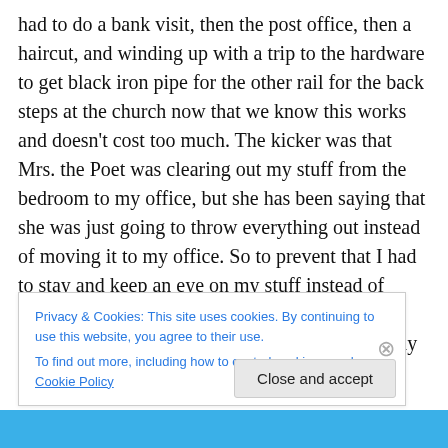had to do a bank visit, then the post office, then a haircut, and winding up with a trip to the hardware to get black iron pipe for the other rail for the back steps at the church now that we know this works and doesn't cost too much. The kicker was that Mrs. the Poet was clearing out my stuff from the bedroom to my office, but she has been saying that she was just going to throw everything out instead of moving it to my office. So to prevent that I had to stay and keep an eye on my stuff instead of going to the bank et al. When Mrs. the Poet and our friend decided to quit for lunch I could finally take my leave. about 1:45 later than
Privacy & Cookies: This site uses cookies. By continuing to use this website, you agree to their use.
To find out more, including how to control cookies, see here: Cookie Policy
Close and accept